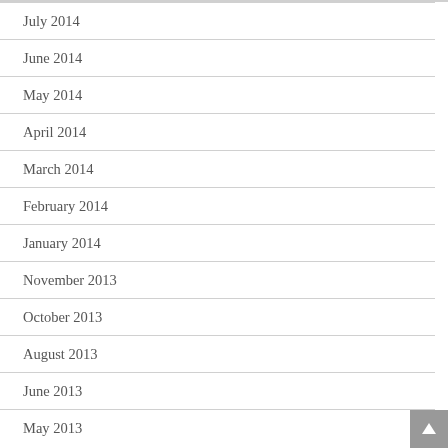July 2014
June 2014
May 2014
April 2014
March 2014
February 2014
January 2014
November 2013
October 2013
August 2013
June 2013
May 2013